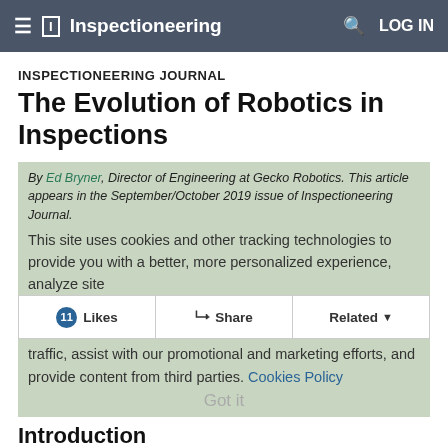Inspectioneering
INSPECTIONEERING JOURNAL
The Evolution of Robotics in Inspections
By Ed Bryner, Director of Engineering at Gecko Robotics. This article appears in the September/October 2019 issue of Inspectioneering Journal.
This site uses cookies and other tracking technologies to provide you with a better, more personalized experience, analyze site traffic, assist with our promotional and marketing efforts, and provide content from third parties. Cookies Policy
11 Likes   Share   Related
Introduction
Advancements in electro-mechanical hardware and software are spurring rapid growth in the emerging field of robotics. These advancements have lead to